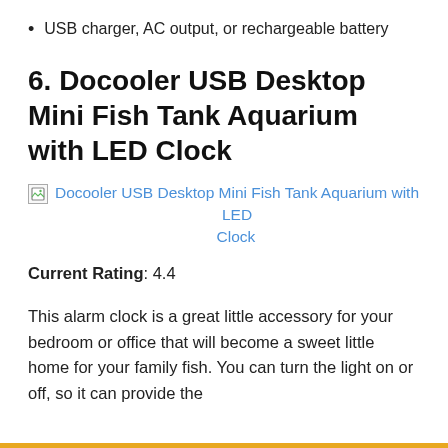USB charger, AC output, or rechargeable battery
6. Docooler USB Desktop Mini Fish Tank Aquarium with LED Clock
[Figure (photo): Broken image placeholder for Docooler USB Desktop Mini Fish Tank Aquarium with LED Clock]
Current Rating: 4.4
This alarm clock is a great little accessory for your bedroom or office that will become a sweet little home for your family fish. You can turn the light on or off, so it can provide the ambient light...